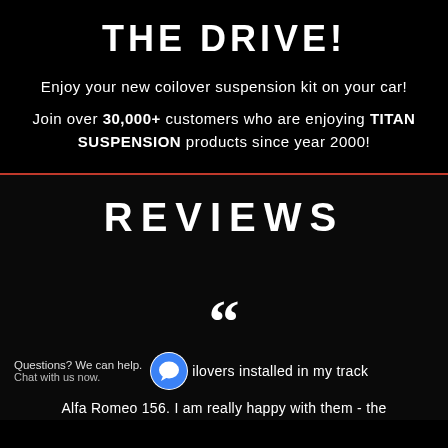THE DRIVE!
Enjoy your new coilover suspension kit on your car!
Join over 30,000+ customers who are enjoying TITAN SUSPENSION products since year 2000!
REVIEWS
““
Questions? We can help. Chat with us now.
ilovers installed in my track Alfa Romeo 156. I am really happy with them - the